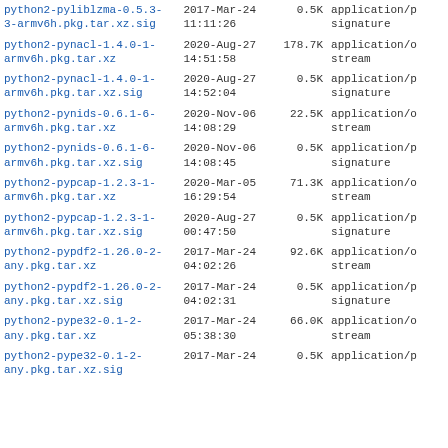| Filename | Date | Size | Type |
| --- | --- | --- | --- |
| python2-pyliblzma-0.5.3-3-armv6h.pkg.tar.xz.sig | 2017-Mar-24 11:11:26 | 0.5K | application/p signature |
| python2-pynacl-1.4.0-1-armv6h.pkg.tar.xz | 2020-Aug-27 14:51:58 | 178.7K | application/o stream |
| python2-pynacl-1.4.0-1-armv6h.pkg.tar.xz.sig | 2020-Aug-27 14:52:04 | 0.5K | application/p signature |
| python2-pynids-0.6.1-6-armv6h.pkg.tar.xz | 2020-Nov-06 14:08:29 | 22.5K | application/o stream |
| python2-pynids-0.6.1-6-armv6h.pkg.tar.xz.sig | 2020-Nov-06 14:08:45 | 0.5K | application/p signature |
| python2-pypcap-1.2.3-1-armv6h.pkg.tar.xz | 2020-Mar-05 16:29:54 | 71.3K | application/o stream |
| python2-pypcap-1.2.3-1-armv6h.pkg.tar.xz.sig | 2020-Aug-27 00:47:50 | 0.5K | application/p signature |
| python2-pypdf2-1.26.0-2-any.pkg.tar.xz | 2017-Mar-24 04:02:26 | 92.6K | application/o stream |
| python2-pypdf2-1.26.0-2-any.pkg.tar.xz.sig | 2017-Mar-24 04:02:31 | 0.5K | application/p signature |
| python2-pype32-0.1-2-any.pkg.tar.xz | 2017-Mar-24 05:38:30 | 66.0K | application/o stream |
| python2-pype32-0.1-2-any.pkg.tar.xz.sig (partial) | 2017-Mar-24 | 0.5K | application/p |